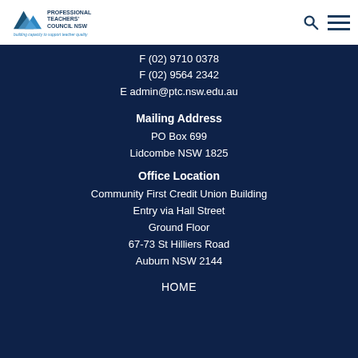[Figure (logo): Professional Teachers' Council NSW logo with triangle/diamond shapes and tagline 'building capacity to support teacher quality']
F (02) 9710 0378
F (02) 9564 2342
E admin@ptc.nsw.edu.au
Mailing Address
PO Box 699
Lidcombe NSW 1825
Office Location
Community First Credit Union Building
Entry via Hall Street
Ground Floor
67-73 St Hilliers Road
Auburn NSW 2144
HOME